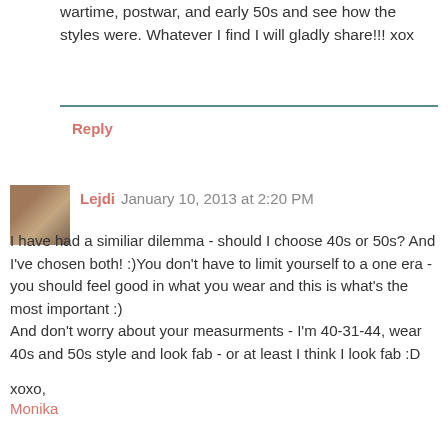wartime, postwar, and early 50s and see how the styles were. Whatever I find I will gladly share!!! xox
Reply
Lejdi  January 10, 2013 at 2:20 PM
I have had a similiar dilemma - should I choose 40s or 50s? And I've chosen both! :)You don't have to limit yourself to a one era - you should feel good in what you wear and this is what's the most important :)
And don't worry about your measurments - I'm 40-31-44, wear 40s and 50s style and look fab - or at least I think I look fab :D
xoxo,
Monika
Reply
Replies